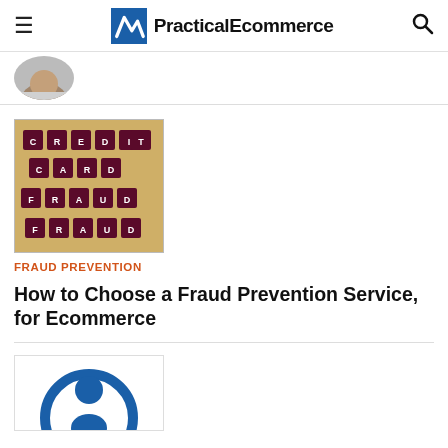PracticalEcommerce
[Figure (photo): Partial author profile photo (circular crop, lower half of face visible)]
[Figure (photo): Scrabble tiles spelling CREDIT CARD FRAUD on a wooden background]
FRAUD PREVENTION
How to Choose a Fraud Prevention Service, for Ecommerce
[Figure (illustration): Circular icon/logo — blue circle outline with a figure inside, partially visible]